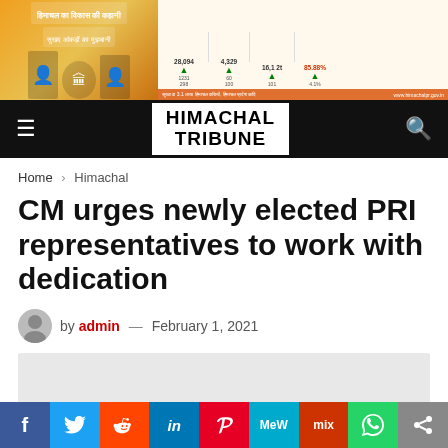[Figure (infographic): Himachal Pradesh government banner advertisement with statistics and official photos]
HIMACHAL TRIBUNE
Home > Himachal
CM urges newly elected PRI representatives to work with dedication
by admin — February 1, 2021
[Figure (photo): Article image placeholder (gray box)]
Social share bar: Facebook, Twitter, Reddit, LinkedIn, Pinterest, MeWe, Mix, WhatsApp, Share